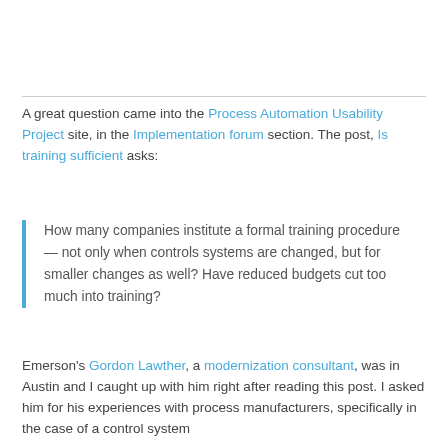A great question came into the Process Automation Usability Project site, in the Implementation forum section. The post, Is training sufficient asks:
How many companies institute a formal training procedure — not only when controls systems are changed, but for smaller changes as well? Have reduced budgets cut too much into training?
Emerson's Gordon Lawther, a modernization consultant, was in Austin and I caught up with him right after reading this post. I asked him for his experiences with process manufacturers, specifically in the case of a control system